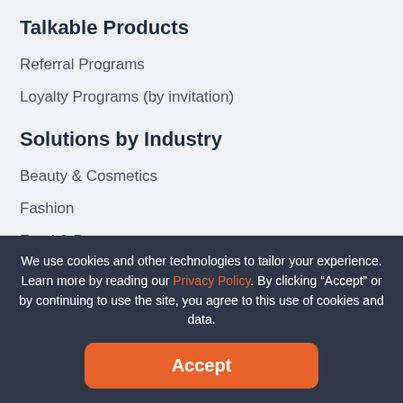Talkable Products
Referral Programs
Loyalty Programs (by invitation)
Solutions by Industry
Beauty & Cosmetics
Fashion
Food & Beverage
Furniture & Home Goods
Health & Nutrition
Solutions by Type
Retail
DTC
We use cookies and other technologies to tailor your experience. Learn more by reading our Privacy Policy. By clicking “Accept” or by continuing to use the site, you agree to this use of cookies and data.